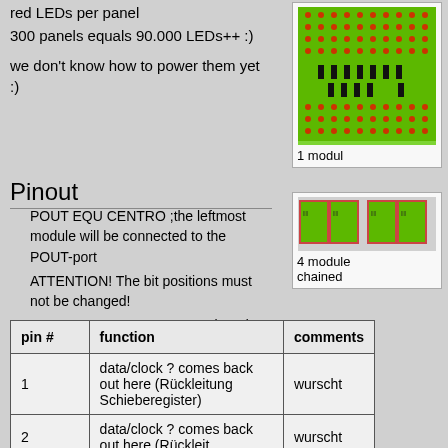red LEDs per panel
300 panels equals 90.000 LEDs++ :)
we don't know how to power them yet :)
[Figure (photo): Green LED panel module with red LEDs arranged in a grid pattern, with black connectors visible]
1 modul
Pinout
POUT EQU CENTRO ;the leftmost module will be connected to the POUT-port
ATTENTION! The bit positions must not be changed!
8V, 5V, 12V, GND are not equipped with pins
[Figure (photo): Four green LED panel modules chained together side by side]
4 module chained
| pin # | function | comments |
| --- | --- | --- |
| 1 | data/clock ? comes back out here (Rückleitung Schieberegister) | wurscht |
| 2 | data/clock ? comes back out here (Rückleitung ... | wurscht |